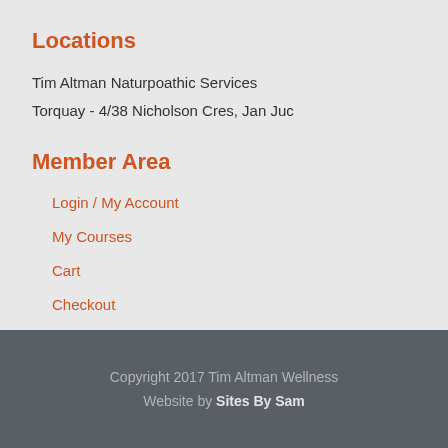Locations
Tim Altman Naturpoathic Services
Torquay - 4/38 Nicholson Cres, Jan Juc
Member Area
Login / My Account
My Courses
Cart
Checkout
Copyright 2017 Tim Altman Wellness
Website by Sites By Sam